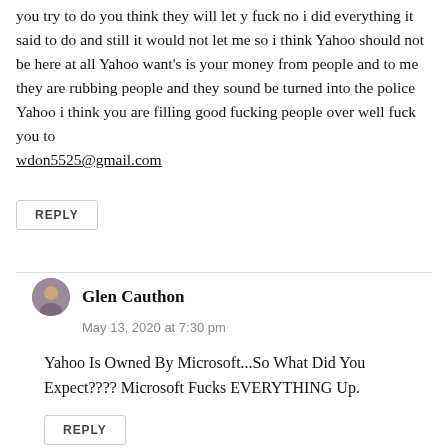you try to do you think they will let y fuck no i did everything it said to do and still it would not let me so i think Yahoo should not be here at all Yahoo want's is your money from people and to me they are rubbing people and they sound be turned into the police
Yahoo i think you are filling good fucking people over well fuck you to
wdon5525@gmail.com
REPLY
Glen Cauthon
May 13, 2020 at 7:30 pm
Yahoo Is Owned By Microsoft...So What Did You Expect???? Microsoft Fucks EVERYTHING Up.
REPLY